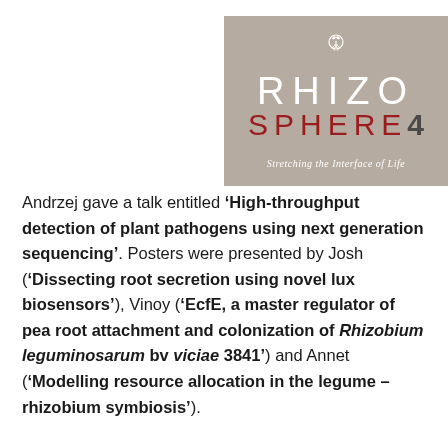[Figure (logo): Rhizosphere 4 conference logo on a taupe/tan background. Text reads RHIZO in white uppercase letters with a plant/root icon, SPHERE4 in dark red/crimson and dark grey, and tagline 'Stretching the Interface of Life' in white italic serif font.]
Andrzej gave a talk entitled ‘High-throughput detection of plant pathogens using next generation sequencing’. Posters were presented by Josh (‘Dissecting root secretion using novel lux biosensors’), Vinoy (‘EcfE, a master regulator of pea root attachment and colonization of Rhizobium leguminosarum bv viciae 3841’) and Annet (‘Modelling resource allocation in the legume – rhizobium symbiosis’).